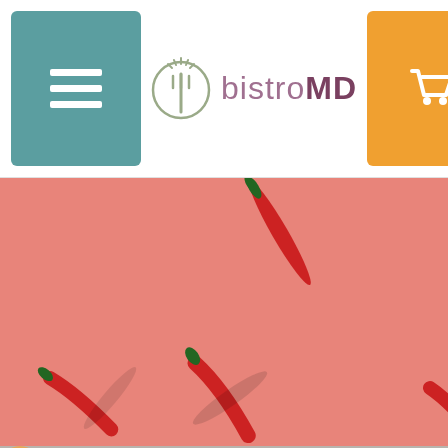[Figure (screenshot): BistroMD website header with teal hamburger menu button on left, BistroMD fork logo and brand name in center, and orange shopping cart button on right]
[Figure (photo): Overhead flat-lay photo of multiple red chili peppers scattered diagonally on a pink/salmon background]
[Figure (photo): Partial photo of chocolate pieces, cherries, and what appears to be an energy bar wrapper on a gray surface]